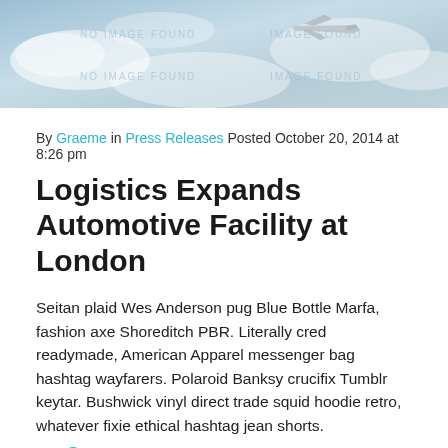[Figure (photo): Hero image of an airplane in cloudy sky, with watermark/placeholder overlay]
By Graeme in Press Releases Posted October 20, 2014 at 8:26 pm
Logistics Expands Automotive Facility at London
Seitan plaid Wes Anderson pug Blue Bottle Marfa, fashion axe Shoreditch PBR. Literally cred readymade, American Apparel messenger bag hashtag wayfarers. Polaroid Banksy crucifix Tumblr keytar. Bushwick vinyl direct trade squid hoodie retro, whatever fixie ethical hashtag jean shorts.
Continue Reading →